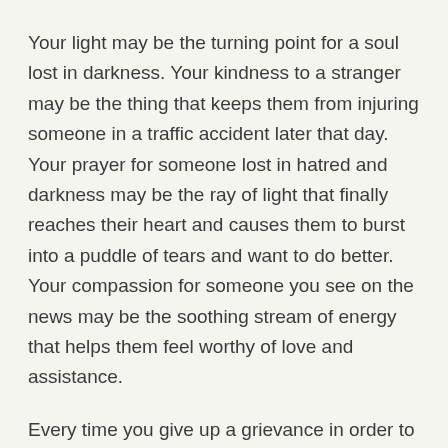Your light may be the turning point for a soul lost in darkness. Your kindness to a stranger may be the thing that keeps them from injuring someone in a traffic accident later that day. Your prayer for someone lost in hatred and darkness may be the ray of light that finally reaches their heart and causes them to burst into a puddle of tears and want to do better. Your compassion for someone you see on the news may be the soothing stream of energy that helps them feel worthy of love and assistance.
Every time you give up a grievance in order to be happy, you elevate yourself and the collective a little higher above the vibration of battle.
Every time you avoid engaging with someone who